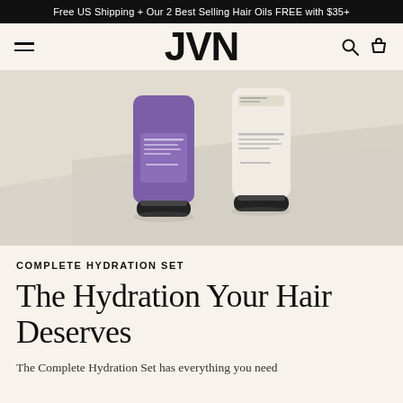Free US Shipping + Our 2 Best Selling Hair Oils FREE with $35+
JVN
[Figure (photo): Two hair care product tubes: one purple and one white/cream colored, photographed on a light background with soft shadows. The purple tube and white tube are standing upright side by side.]
COMPLETE HYDRATION SET
The Hydration Your Hair Deserves
The Complete Hydration Set has everything you need